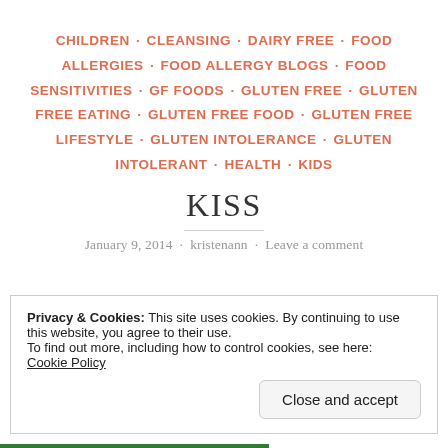CHILDREN · CLEANSING · DAIRY FREE · FOOD ALLERGIES · FOOD ALLERGY BLOGS · FOOD SENSITIVITIES · GF FOODS · GLUTEN FREE · GLUTEN FREE EATING · GLUTEN FREE FOOD · GLUTEN FREE LIFESTYLE · GLUTEN INTOLERANCE · GLUTEN INTOLERANT · HEALTH · KIDS
KISS
January 9, 2014 · kristenann · Leave a comment
Privacy & Cookies: This site uses cookies. By continuing to use this website, you agree to their use. To find out more, including how to control cookies, see here: Cookie Policy
Close and accept